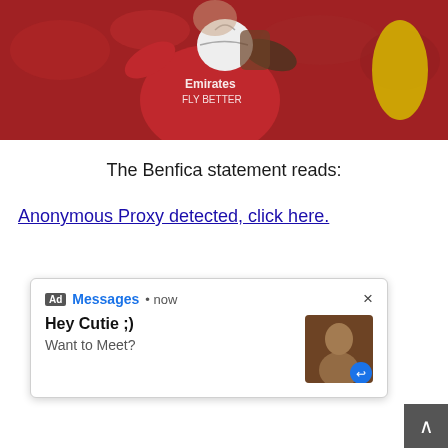[Figure (photo): A soccer/football player wearing a red Emirates 'Fly Better' jersey holding a ball, with another player in yellow visible at the edge. Crowded stadium background.]
The Benfica statement reads:
Anonymous Proxy detected, click here.
[Figure (screenshot): Ad notification popup that reads: Ad | Messages • now | Hey Cutie ;) | Want to Meet? with a thumbnail image and a close button (×).]